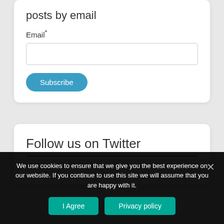posts by email
Email*
[Figure (screenshot): Email input field and Subscribe button inside a white card]
Follow us on Twitter
We use cookies to ensure that we give you the best experience on our website. If you continue to use this site we will assume that you are happy with it.